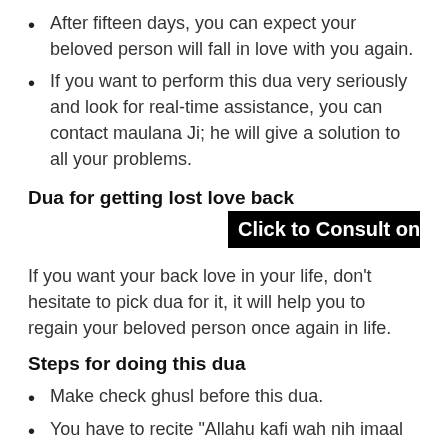After fifteen days, you can expect your beloved person will fall in love with you again.
If you want to perform this dua very seriously and look for real-time assistance, you can contact maulana Ji; he will give a solution to all your problems.
Dua for getting lost love back
[Figure (other): Black banner overlay reading 'Click to Consult on Whatsapp']
If you want your back love in your life, don’t hesitate to pick dua for it, it will help you to regain your beloved person once again in life.
Steps for doing this dua
Make check ghusl before this dua.
You have to recite “Allahu kafi wah nih imaal